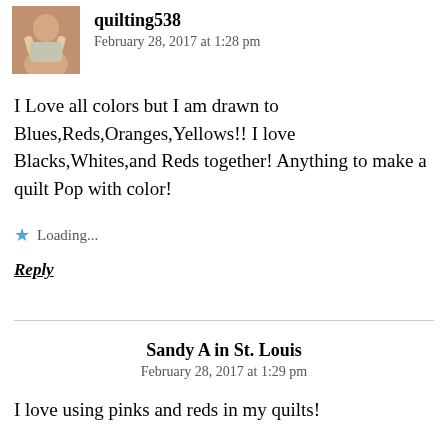quilting538
February 28, 2017 at 1:28 pm
I Love all colors but I am drawn to Blues,Reds,Oranges,Yellows!! I love Blacks,Whites,and Reds together! Anything to make a quilt Pop with color!
Loading...
Reply
Sandy A in St. Louis
February 28, 2017 at 1:29 pm
I love using pinks and reds in my quilts!